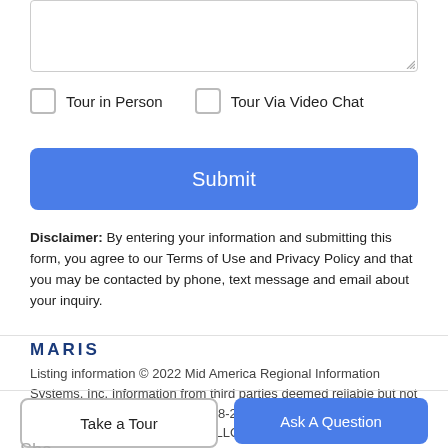[Figure (screenshot): Empty textarea input box with resize handle at bottom right]
Tour in Person
Tour Via Video Chat
Submit
Disclaimer: By entering your information and submitting this form, you agree to our Terms of Use and Privacy Policy and that you may be contacted by phone, text message and email about your inquiry.
MARIS
Listing information © 2022 Mid America Regional Information Systems, Inc. Information from third parties deemed reliable but not verified. Data last update 2022-08-20T23:39:22.393. Realty Executives, Fort Leonard Wood LLC: 573-336-2206
Take a Tour
Ask A Question